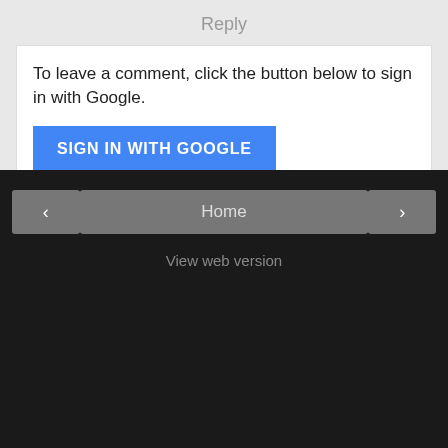Reply
To leave a comment, click the button below to sign in with Google.
[Figure (screenshot): Blue button labeled SIGN IN WITH GOOGLE]
‹
Home
›
View web version